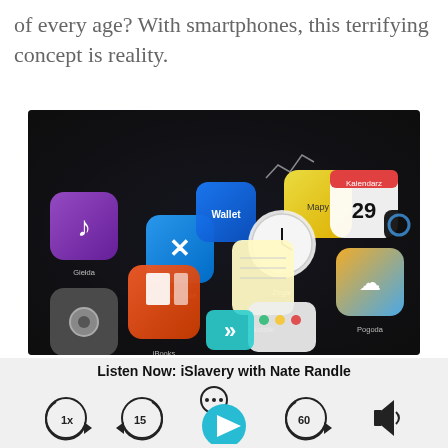of every age? With smartphones, this terrifying concept is reality.
[Figure (photo): Close-up photo of an iPhone screen showing multiple app icons including App Store, Wallet, iBooks, Maps, Notes, Clock, Calendar, Weather, Photos, and other iOS apps on a dark background.]
Listen Now: iSlavery with Nate Randle
[Figure (screenshot): Podcast player controls: ellipsis menu button, rewind 1x speed button, rewind 15 seconds, large teal play button, fast forward 60 seconds, and speaker/volume button.]